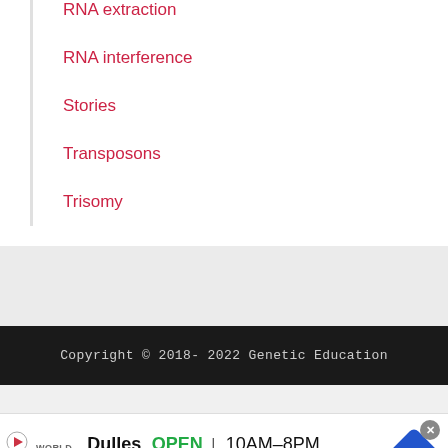RNA extraction
RNA interference
Stories
Transposons
Trisomy
Copyright © 2018- 2022 Genetic Education
[Figure (infographic): Advertisement banner: World Market store, Dulles location, OPEN 10AM-8PM, 45575 Dulles Eastern Plaza, Suite 171, D]